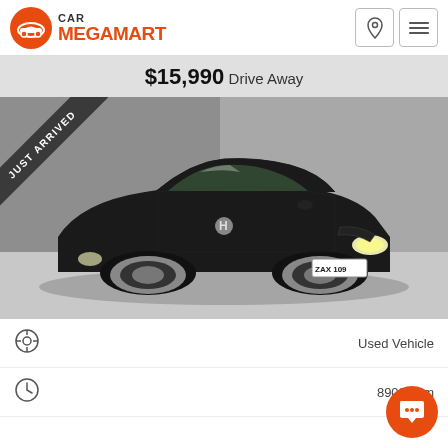CAR MEGAMART
$15,990 Drive Away
[Figure (photo): Black Honda Jazz/Fit hatchback in a parking area with a 'Just Arrived' diagonal banner in the top-left corner. License plate reads ZAX 109.]
Used Vehicle
89002 km